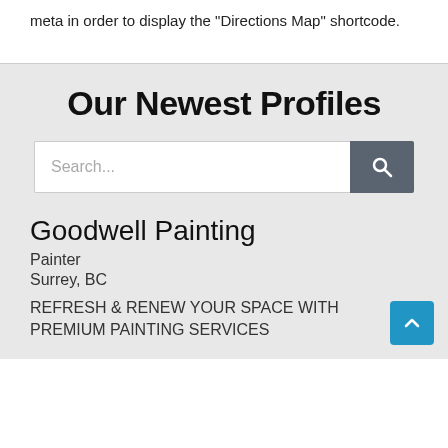meta in order to display the "Directions Map" shortcode.
Our Newest Profiles
Search...
Goodwell Painting
Painter
Surrey, BC
REFRESH & RENEW YOUR SPACE WITH PREMIUM PAINTING SERVICES